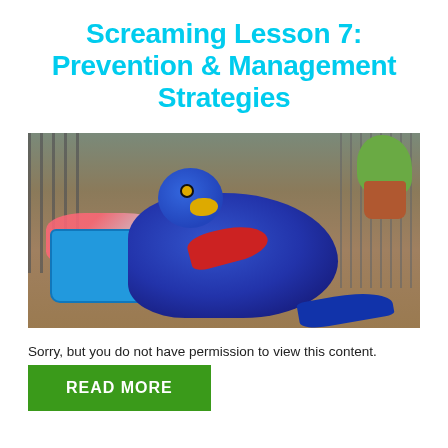Screaming Lesson 7: Prevention & Management Strategies
[Figure (photo): A large blue hyacinth macaw rummaging through a blue plastic laundry basket filled with colorful items, outdoors in a dirt area with wire fencing and a potted plant in the background.]
Sorry, but you do not have permission to view this content.
READ MORE